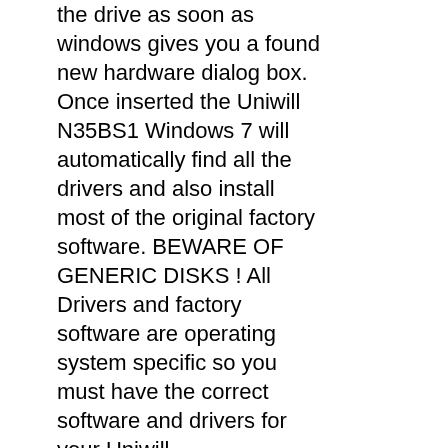the drive as soon as windows gives you a found new hardware dialog box. Once inserted the Uniwill N35BS1 Windows 7 will automatically find all the drivers and also install most of the original factory software. BEWARE OF GENERIC DISKS ! All Drivers and factory software are operating system specific so you must have the correct software and drivers for your Uniwill N35BS1Windows 7. Some of the drivers you would find on this